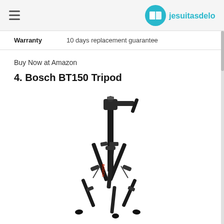jesuitasdeloyola
| Warranty |  |
| --- | --- |
| Warranty | 10 days replacement guarantee |
Buy Now at Amazon
4. Bosch BT150 Tripod
[Figure (photo): A Bosch BT150 tripod photographed against a white background. The tripod has three extendable legs, a three-way pan head with a handle, and the Bosch logo in red on the center column. The tripod is black and fully extended.]